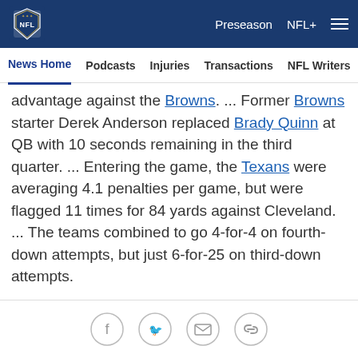NFL | Preseason | NFL+
News Home | Podcasts | Injuries | Transactions | NFL Writers | Se...
advantage against the Browns. ... Former Browns starter Derek Anderson replaced Brady Quinn at QB with 10 seconds remaining in the third quarter. ... Entering the game, the Texans were averaging 4.1 penalties per game, but were flagged 11 times for 84 yards against Cleveland. ... The teams combined to go 4-for-4 on fourth-down attempts, but just 6-for-25 on third-down attempts.
Social share icons: Facebook, Twitter, Email, Link